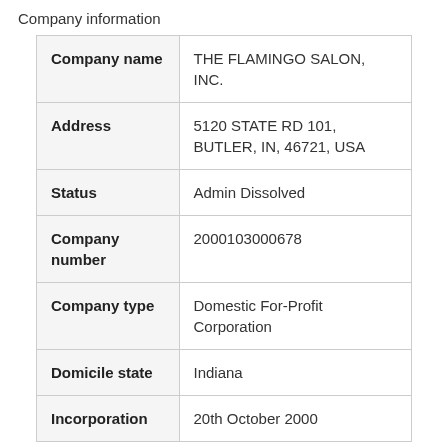Company information
| Company name | THE FLAMINGO SALON, INC. |
| Address | 5120 STATE RD 101, BUTLER, IN, 46721, USA |
| Status | Admin Dissolved |
| Company number | 2000103000678 |
| Company type | Domestic For-Profit Corporation |
| Domicile state | Indiana |
| Incorporation | 20th October 2000 |